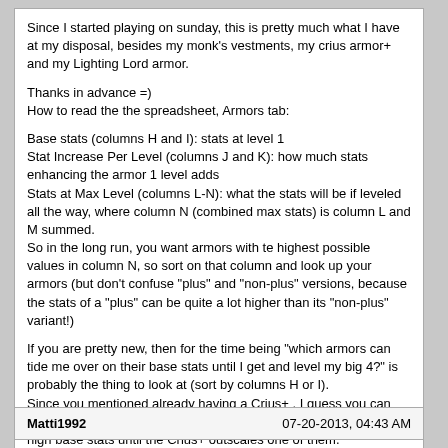Since I started playing on sunday, this is pretty much what I have at my disposal, besides my monk's vestments, my crius armor+ and my Lighting Lord armor.
Thanks in advance =)
How to read the the spreadsheet, Armors tab:
Base stats (columns H and I): stats at level 1
Stat Increase Per Level (columns J and K): how much stats enhancing the armor 1 level adds
Stats at Max Level (columns L-N): what the stats will be if leveled all the way, where column N (combined max stats) is column L and M summed.
So in the long run, you want armors with te highest possible values in column N, so sort on that column and look up your armors (but don't confuse "plus" and "non-plus" versions, because the stats of a "plus" can be quite a lot higher than its "non-plus" variant!)
If you are pretty new, then for the time being "which armors can tide me over on their base stats until I get and level my big 4?" is probably the thing to look at (sort by columns H or I).
Since you mentioned already having a Crius+ , I guess you can funnel your resources into leveling that and wear 3 armors with high base stats until the Crius+ outscales one of them.
(I've oversimplified things a bit by not looking at the elemental advantages/disadvantages.)
PS: Nemesis/Nemesis+ is mostly only useful when hunting for the elusive level 43 of the epic boss and not very strong against anything but the epic boss. At a lower champion level using Nemesis probably doesn't add more than a few extra victory reward armors and the not super strong non-plus boss armor that would soak up 200K gold and 3 days time in an armorsmith. (got 4 of those uncrafted in my armorsmith...)
Matti1992    07-20-2013, 04:43 AM